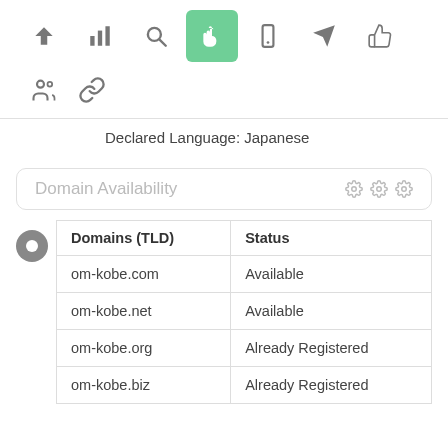[Figure (screenshot): Toolbar row with icons: up arrow, bar chart, search, hand pointer (active/green), mobile, send, thumbs up]
[Figure (screenshot): Second toolbar row with people group icon and chain link icon]
Declared Language: Japanese
Domain Availability
| Domains (TLD) | Status |
| --- | --- |
| om-kobe.com | Available |
| om-kobe.net | Available |
| om-kobe.org | Already Registered |
| om-kobe.biz | Already Registered |